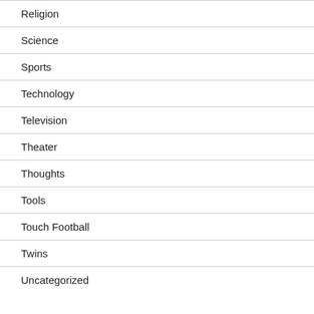Religion
Science
Sports
Technology
Television
Theater
Thoughts
Tools
Touch Football
Twins
Uncategorized